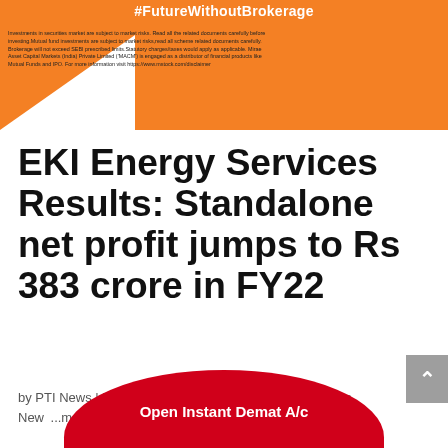#FutureWithoutBrokerage
Investments in securities market are subject to market risks. Read all the related documents carefully before investing.Mutual fund investments are subject to market risks,read all scheme related documents carefully. Brokerage will not exceed SEBI prescribed limits.Statutory charges/taxes would apply as applicable. Mirae Asset Capital Markets (India) Private Limited ('MACM') is engaged as a distributor of financial products like Mutual Funds and IPO. For more information visit https://www.mstock.com/disclaimer
EKI Energy Services Results: Standalone net profit jumps to Rs 383 crore in FY22
by PTI News | May 17, 2022 | 5:00 pm | Company Results, New... ments